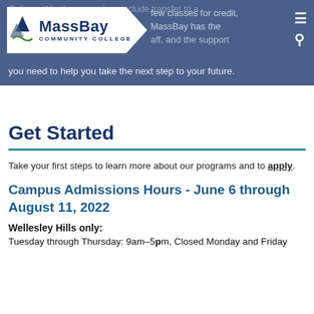College. Whether your plans include transfer to a few classes for credit, MassBay has the [staff], and the support you need to help you take the next step to your future.
[Figure (logo): MassBay Community College logo with mountain/wave icon and text]
Get Started
Take your first steps to learn more about our programs and to apply.
Campus Admissions Hours - June 6 through August 11, 2022
Wellesley Hills only:
Tuesday through Thursday: 9am–5pm, Closed Monday and Friday